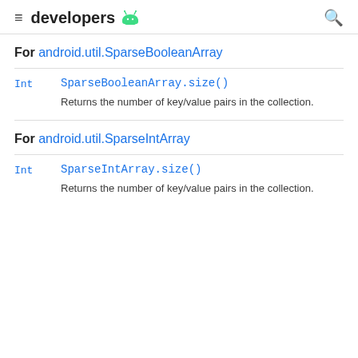developers
For android.util.SparseBooleanArray
Int   SparseBooleanArray.size()
Returns the number of key/value pairs in the collection.
For android.util.SparseIntArray
Int   SparseIntArray.size()
Returns the number of key/value pairs in the collection.